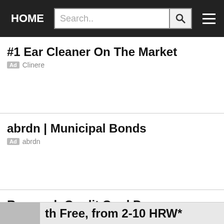HOME | Search..
#1 Ear Cleaner On The Market
Ad  Clinere
abrdn | Municipal Bonds
Ad  abrdn
Research Credit Card Processor
Ad  Yahoo Search
th Free, from 2-10 HRW*